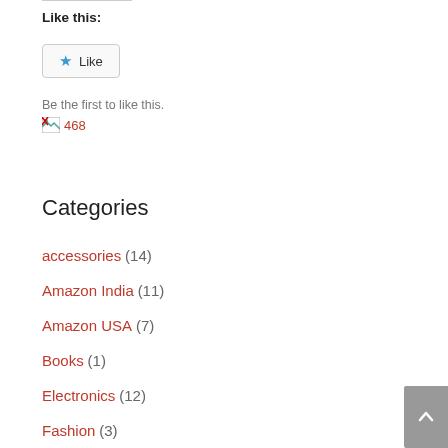Like this:
[Figure (other): Like button with star icon]
Be the first to like this.
[Figure (other): Broken image placeholder with text 468]
Categories
accessories (14)
Amazon India (11)
Amazon USA (7)
Books (1)
Electronics (12)
Fashion (3)
Flipkart India (4)